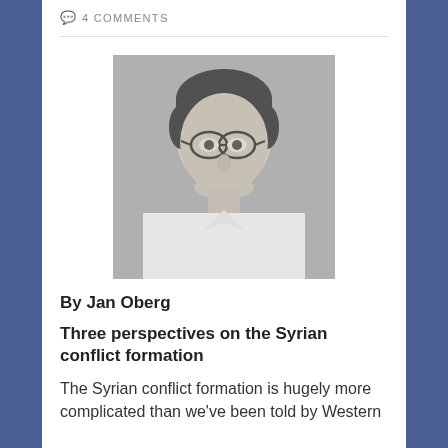4 COMMENTS
[Figure (photo): Black and white portrait photo of Jan Oberg, a middle-aged man with glasses and short hair, wearing a light-colored shirt, smiling slightly]
By Jan Oberg
Three perspectives on the Syrian conflict formation
The Syrian conflict formation is hugely more complicated than we've been told by Western